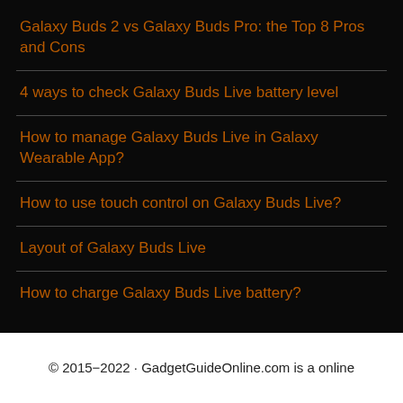Galaxy Buds 2 vs Galaxy Buds Pro: the Top 8 Pros and Cons
4 ways to check Galaxy Buds Live battery level
How to manage Galaxy Buds Live in Galaxy Wearable App?
How to use touch control on Galaxy Buds Live?
Layout of Galaxy Buds Live
How to charge Galaxy Buds Live battery?
© 2015−2022 · GadgetGuideOnline.com is a online